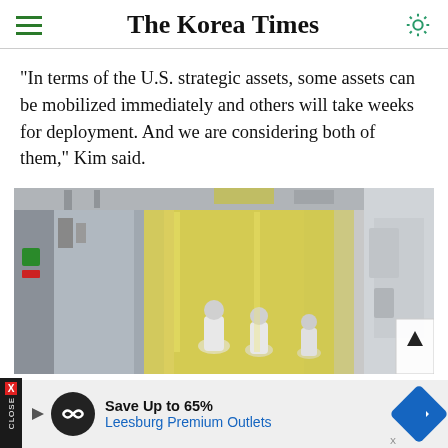The Korea Times
"In terms of the U.S. strategic assets, some assets can be mobilized immediately and others will take weeks for deployment. And we are considering both of them," Kim said.
[Figure (photo): Semiconductor cleanroom with workers in white protective suits walking through a yellow-lit facility with manufacturing equipment]
Save Up to 65% Leesburg Premium Outlets